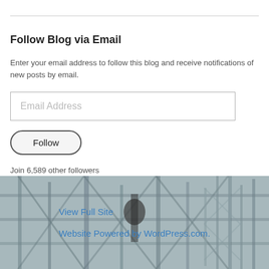Follow Blog via Email
Enter your email address to follow this blog and receive notifications of new posts by email.
Email Address
Follow
Join 6,589 other followers
[Figure (photo): Background photo showing industrial scaffolding or antenna tower structure, muted grey-blue tones]
View Full Site
Website Powered by WordPress.com.